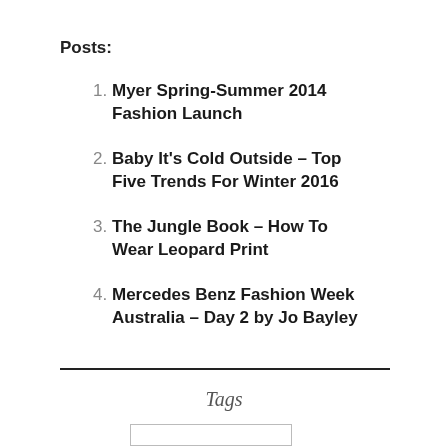Posts:
Myer Spring-Summer 2014 Fashion Launch
Baby It's Cold Outside – Top Five Trends For Winter 2016
The Jungle Book – How To Wear Leopard Print
Mercedes Benz Fashion Week Australia – Day 2 by Jo Bayley
Tags